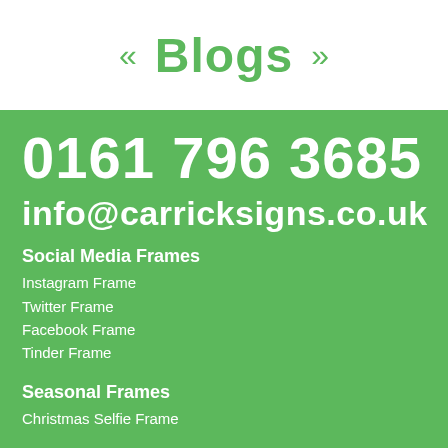« Blogs »
0161 796 3685
info@carricksigns.co.uk
Social Media Frames
Instagram Frame
Twitter Frame
Facebook Frame
Tinder Frame
Seasonal Frames
Christmas Selfie Frame